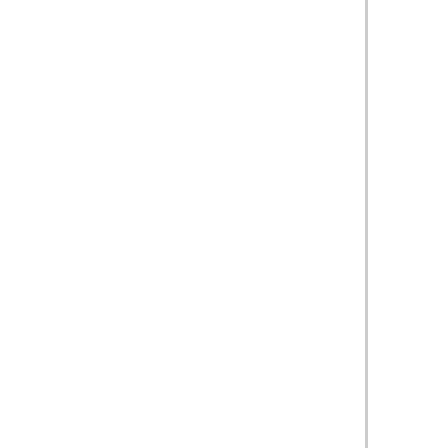systems vary tremendously.
As figures for the previous months come through, will report and revise the overall reported death ra to see a spike in deaths considerably larger than
Bottom line is that the official death rates, even in systems, will be revised upwards over time. And many, or in some cases most Covid related death such.
The worldometers site has other issues too, but it that.
Posted by: Nigel | April 22, 2020 at 01:22 AM
the amount and effectiveness of contact tracing
Effective contact tracing is being done in very few. Of the larger nations, really only South Korea and
If you don't have the testing infrastructure and sys becomes impossible. The UK abandoned the effort some time back, an and others, concentrated on testing hospital admi
It will, hopefully, resume after the lockdown suffici